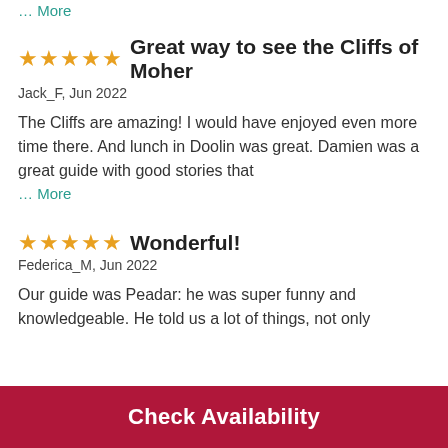… More
Great way to see the Cliffs of Moher
Jack_F, Jun 2022
The Cliffs are amazing! I would have enjoyed even more time there. And lunch in Doolin was great. Damien was a great guide with good stories that
… More
Wonderful!
Federica_M, Jun 2022
Our guide was Peadar: he was super funny and knowledgeable. He told us a lot of things, not only
Check Availability